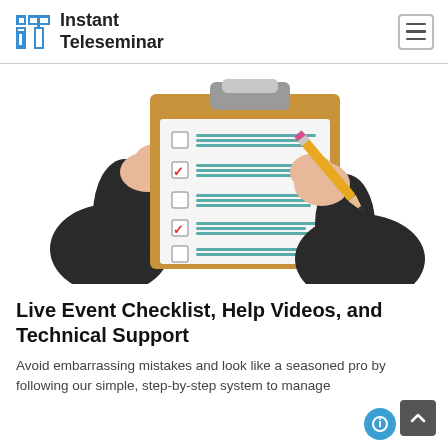Instant Teleseminar
[Figure (illustration): Illustration of two hands holding a clipboard checklist with checkboxes (two checked with red checkmarks, one empty checked, two unchecked), and a hand holding a pencil on the right side, wearing a dark suit jacket.]
Live Event Checklist, Help Videos, and Technical Support
Avoid embarrassing mistakes and look like a seasoned pro by following our simple, step-by-step system to manage